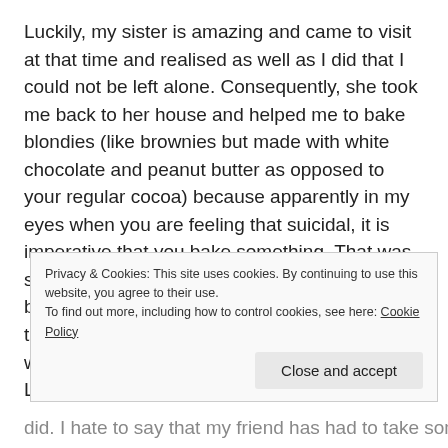Luckily, my sister is amazing and came to visit at that time and realised as well as I did that I could not be left alone. Consequently, she took me back to her house and helped me to bake blondies (like brownies but made with white chocolate and peanut butter as opposed to your regular cocoa) because apparently in my eyes when you are feeling that suicidal, it is imperative that you bake something. That was several days ago and since then I have not been alone for more than about an hour at a time because I have the most amazing friend who has agreed to come and stay with me. Like I said, it isn't
Privacy & Cookies: This site uses cookies. By continuing to use this website, you agree to their use.
To find out more, including how to control cookies, see here: Cookie Policy
Close and accept
did. I hate to say that my friend has had to take some